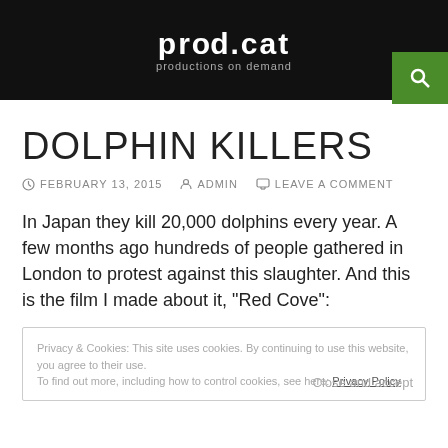prod.cat productions on demand
DOLPHIN KILLERS
FEBRUARY 13, 2015   ADMIN   LEAVE A COMMENT
In Japan they kill 20,000 dolphins every year. A few months ago hundreds of people gathered in London to protest against this slaughter. And this is the film I made about it, “Red Cove”:
Privacy & Cookies: This site uses cookies. By continuing to use this website, you agree to their use. To find out more, including how to control cookies, see here: Privacy Policy   Close and accept